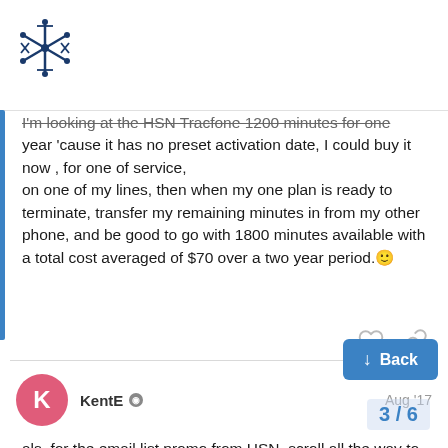[Figure (logo): Asterisk/snowflake logo in dark blue at top left]
I'm looking at the HSN Tracfone 1200 minutes for one year 'cause it has no preset activation date, I could buy it now , for one of service, on one of my lines, then when my one plan is ready to terminate, transfer my remaining minutes in from my other phone, and be good to go with 1800 minutes available with a total cost averaged of $70 over a two year period. 🙂
KentE  Aug '17
als, for the email list promo from HSN, scroll all the way to the bottom of the main HSN.com website to see it (bottom right side, on my browser). It's good for a 15% discount via your email address.. I days ago (looking at the Tracfones me